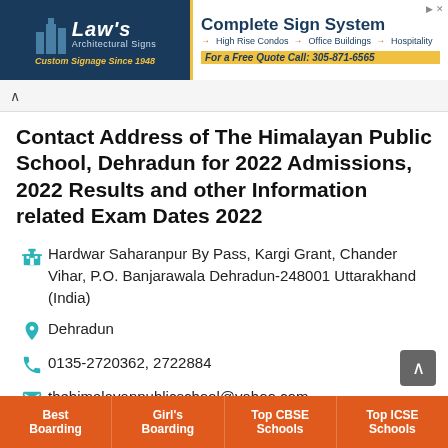[Figure (screenshot): Advertisement banner: Law's Architectural Signs on the left (dark blue background, gold italic text 'Law's', subtitle 'Architectural Signs', tagline 'Custom Signage Since 1948') and Complete Sign System on the right (white background, bold blue text 'Complete Sign System', bullet points 'High Rise Condos', 'Office Buildings', 'Hospitality', and gold strip 'For a Free Quote Call: 305-871-6565')]
Contact Address of The Himalayan Public School, Dehradun for 2022 Admissions, 2022 Results and other Information related Exam Dates 2022
Hardwar Saharanpur By Pass, Kargi Grant, Chander Vihar, P.O. Banjarawala Dehradun-248001 Uttarakhand (India)
Dehradun
0135-2720362, 2722884
thehimalayanpublicschool@yahoo.com
Best Boarding | Girl's Boarding | Top CBSE Schools | Top ICSE Schools